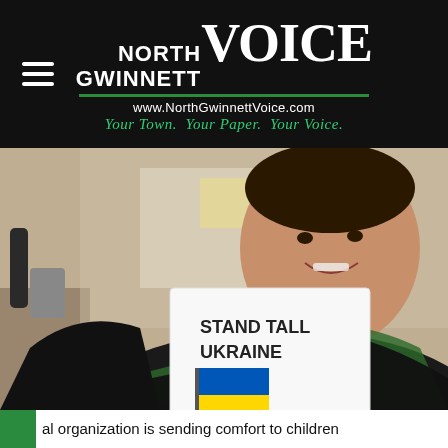[Figure (logo): North Gwinnett Voice newspaper logo on black background with hamburger menu icon. Logo shows 'NORTH GWINNETT' stacked text beside large 'VOICE' text, with green divider line, website URL 'www.NorthGwinnettVoice.com', and italic green tagline 'Your Town. Your Paper. Your Voice.']
[Figure (photo): Photo of a smiling boy holding up a hand-drawn sign on white paper that reads 'STAND TALL UKRAINE' with a drawing of the Ukrainian flag (blue and yellow) on a pole. The boy is wearing a black hoodie with green shirt underneath. Background shows a classroom setting.]
al organization is sending comfort to children